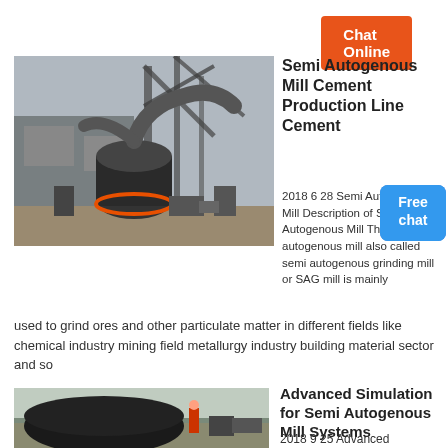[Figure (other): Orange 'Chat Online' button at top right]
[Figure (photo): Industrial semi-autogenous mill machinery at a facility, showing large grinding equipment with pipes and metal framework]
Semi Autogenous Mill Cement Production Line Cement
2018 6 28 Semi Autogenous Mill Description of Semi Autogenous Mill This semi autogenous mill also called semi autogenous grinding mill or SAG mill is mainly used to grind ores and other particulate matter in different fields like chemical industry mining field metallurgy industry building material sector and so
[Figure (other): Blue 'Free chat' bubble/button]
[Figure (other): Orange 'Chat Online' button in middle]
[Figure (photo): Industrial semi-autogenous mill equipment outdoors, workers visible near large black machinery]
Advanced Simulation for Semi Autogenous Mill Systems
2018 9 25 Advanced